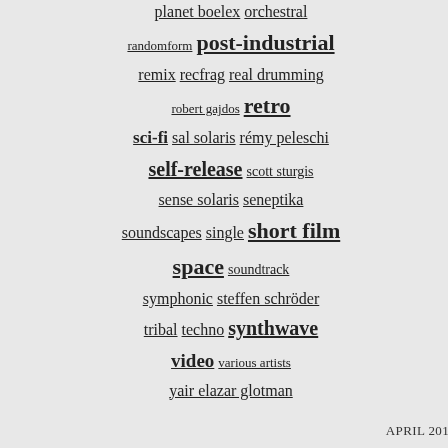planet boelex orchestral
randomform post-industrial
remix recfrag real drumming
robert gajdos retro
sci-fi sal solaris rémy peleschi
self-release scott sturgis
sense solaris seneptika
soundscapes single short film
space soundtrack
symphonic steffen schröder
tribal techno synthwave
video various artists
yair elazar glotman
music composed, arranged and performed b… mastered by Alexander Dietz @ Chemical B… artwork & layout by Aevin
APRIL 2017
MARCH 2017
JANUARY 2017
NOVEMBER 2016
SEPTEMBER 2016
APRIL 2016